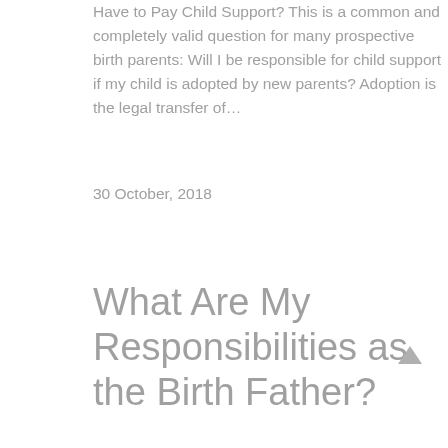Have to Pay Child Support? This is a common and completely valid question for many prospective birth parents: Will I be responsible for child support if my child is adopted by new parents? Adoption is the legal transfer of...
30 October, 2018
What Are My Responsibilities as the Birth Father?